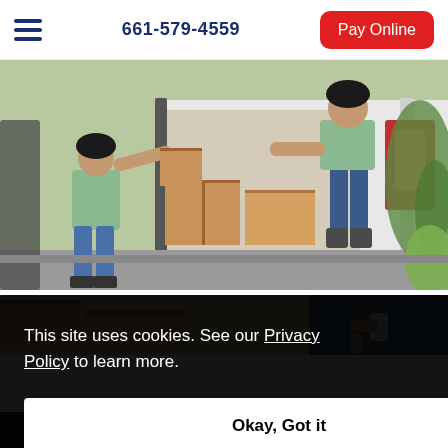661-579-4559  Pay Online
[Figure (photo): Two people loading cardboard boxes into a moving van; one person inside the van passing a box to another person standing outside on the street.]
[Figure (photo): Partial view of cardboard boxes and a person holding a device, related to moving services.]
This site uses cookies. See our Privacy Policy to learn more.
Okay, Got it